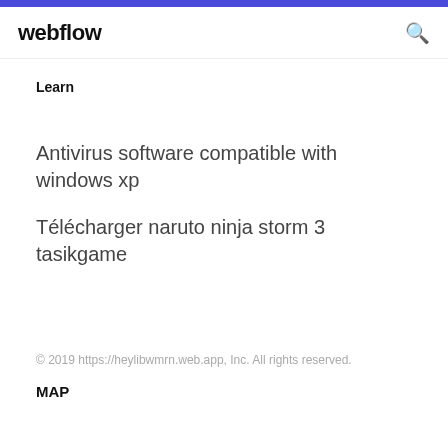webflow
Learn
Antivirus software compatible with windows xp
Télécharger naruto ninja storm 3 tasikgame
© 2019 https://heylibwmrn.web.app, Inc. All rights reserved.
MAP